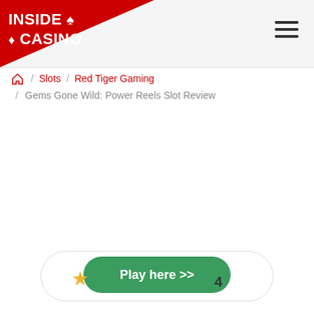INSIDE CASINO
Home / Slots / Red Tiger Gaming / Gems Gone Wild: Power Reels Slot Review
Play here >>
★ 4